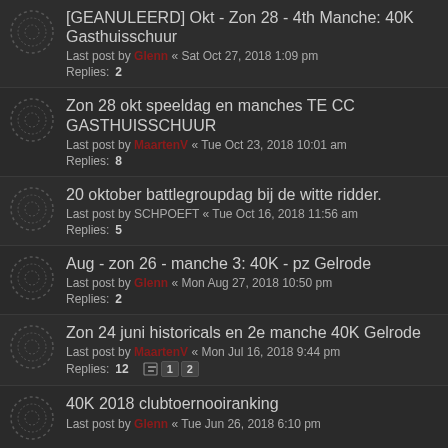[GEANULEERD] Okt - Zon 28 - 4th Manche: 40K Gasthuisschuur
Last post by Glenn « Sat Oct 27, 2018 1:09 pm
Replies: 2
Zon 28 okt speeldag en manches TE CC GASTHUISSCHUUR
Last post by MaartenV « Tue Oct 23, 2018 10:01 am
Replies: 8
20 oktober battlegroupdag bij de witte ridder.
Last post by SCHPOEFT « Tue Oct 16, 2018 11:56 am
Replies: 5
Aug - zon 26 - manche 3: 40K - pz Gelrode
Last post by Glenn « Mon Aug 27, 2018 10:50 pm
Replies: 2
Zon 24 juni historicals en 2e manche 40K Gelrode
Last post by MaartenV « Mon Jul 16, 2018 9:44 pm
Replies: 12
40K 2018 clubtoernooiranking
Last post by Glenn « Tue Jun 26, 2018 6:10 pm
17th Conflict 18-20 mei 2018
Last post by tshonka « Mon May 21, 2018 4:15 pm
Replies: 13